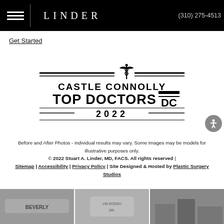LINDER | (310) 275-4513
Get Started
[Figure (logo): Castle Connolly Top Doctors 2022 badge/logo with decorative caduceus emblem]
Before and After Photos - individual results may vary. Some images may be models for illustrative purposes only.
© 2022 Stuart A. Linder, MD, FACS. All rights reserved | Sitemap | Accessibility | Privacy Policy | Site Designed & Hosted by Plastic Surgery Studios
[Figure (photo): Black and white photo strip showing Beverly Hills street scenes including Beverly Hills sign, Via Rodeo drive sign, and city street view]